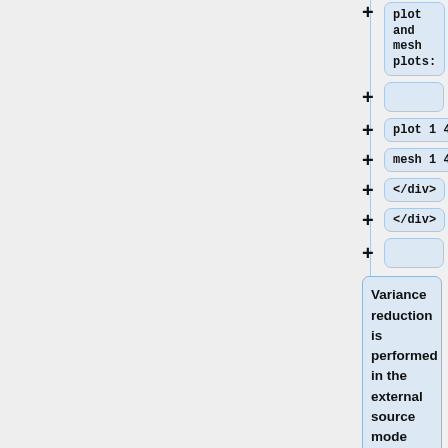+ plot and mesh plots:
+
+ plot 1 400 600
+ mesh 1 400 600
+ </div>
+ </div>
+
Variance reduction is performed in the external source mode with fissions switched off using the source distributi...